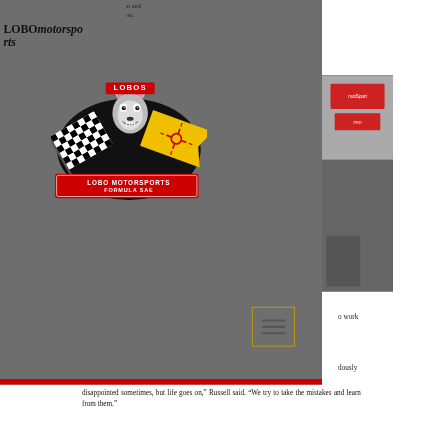st and on.
LOBOmotorsports
[Figure (logo): Lobo Motorsports Formula SAE logo: wolf mascot with racing flags and New Mexico zia symbol]
[Figure (photo): Partial photo of motorsports equipment/tent area, red background]
o work
dously
disappointed sometimes, but life goes on,” Russell said. “We try to take the mistakes and learn from them.”